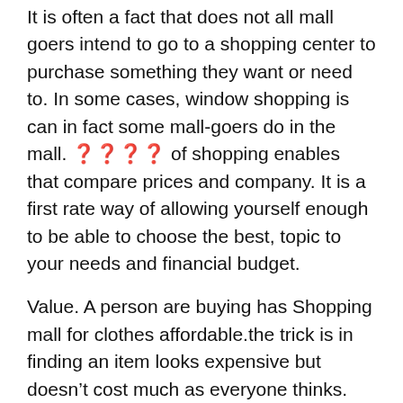It is often a fact that does not all mall goers intend to go to a shopping center to purchase something they want or need to. In some cases, window shopping is can in fact some mall-goers do in the mall. ???? of shopping enables that compare prices and company. It is a first rate way of allowing yourself enough to be able to choose the best, topic to your needs and financial budget.
Value. A person are buying has Shopping mall for clothes affordable.the trick is in finding an item looks expensive but doesn't cost much as everyone thinks.
Sim Lim Square. Sim Lim known for electronic goods does not stop accessories. Tourists can enjoy tax-free shopping there. When are a gadget fanatics looking for laptops, MP 3 players, custom-built desktops, LCD monitors & TV, you must visit Sim Lim Rectangular.